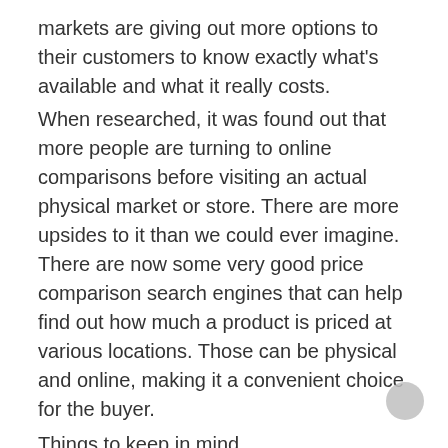markets are giving out more options to their customers to know exactly what's available and what it really costs.
When researched, it was found out that more people are turning to online comparisons before visiting an actual physical market or store. There are more upsides to it than we could ever imagine. There are now some very good price comparison search engines that can help find out how much a product is priced at various locations. Those can be physical and online, making it a convenient choice for the buyer.
Things to keep in mind
A few things to take keep in mind when thinking about buying any commodity are;
1. Do you actually need to buy a certain product; make sure you absolutely require that item?